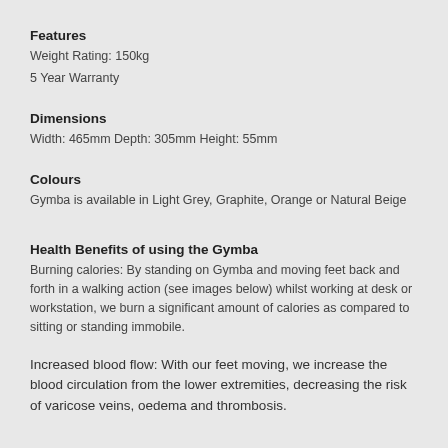Features
Weight Rating: 150kg
5 Year Warranty
Dimensions
Width: 465mm Depth: 305mm Height: 55mm
Colours
Gymba is available in Light Grey, Graphite, Orange or Natural Beige
Health Benefits of using the Gymba
Burning calories: By standing on Gymba and moving feet back and forth in a walking action (see images below) whilst working at desk or workstation, we burn a significant amount of calories as compared to sitting or standing immobile.
Increased blood flow: With our feet moving, we increase the blood circulation from the lower extremities, decreasing the risk of varicose veins, oedema and thrombosis.